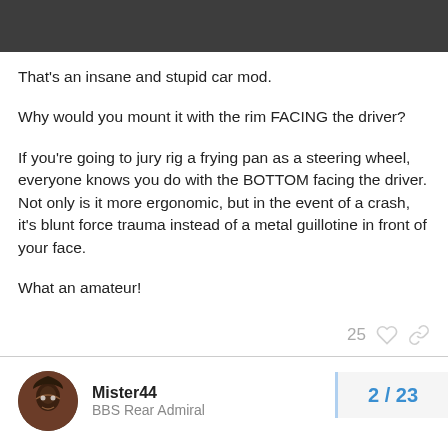That's an insane and stupid car mod.
Why would you mount it with the rim FACING the driver?
If you're going to jury rig a frying pan as a steering wheel, everyone knows you do with the BOTTOM facing the driver. Not only is it more ergonomic, but in the event of a crash, it's blunt force trauma instead of a metal guillotine in front of your face.
What an amateur!
25
Mister44
BBS Rear Admiral
Sep '16
So it was less about the steering wheel, and more about all the other issues with the car that lead to an am
"Click bait? On MY blog? It's more likely th
2 / 23